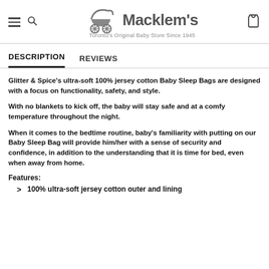Macklem's — Toronto's Original Baby Store Since 1945
DESCRIPTION | REVIEWS
Glitter & Spice's ultra-soft 100% jersey cotton Baby Sleep Bags are designed with a focus on functionality, safety, and style.
With no blankets to kick off, the baby will stay safe and at a comfy temperature throughout the night.
When it comes to the bedtime routine, baby's familiarity with putting on our Baby Sleep Bag will provide him/her with a sense of security and confidence, in addition to the understanding that it is time for bed, even when away from home.
Features:
100% ultra-soft jersey cotton outer and lining